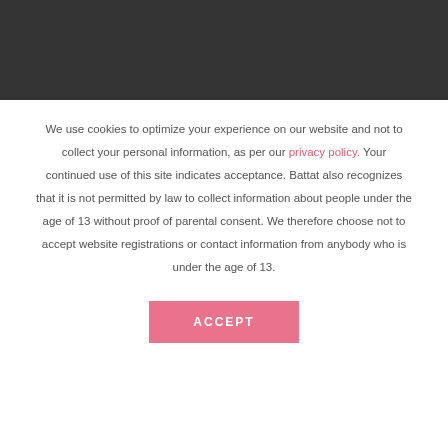[Figure (other): Dark gray/black header banner at the top of the page]
We use cookies to optimize your experience on our website and not to collect your personal information, as per our privacy policy. Your continued use of this site indicates acceptance. Battat also recognizes that it is not permitted by law to collect information about people under the age of 13 without proof of parental consent. We therefore choose not to accept website registrations or contact information from anybody who is under the age of 13.
ACCEPT